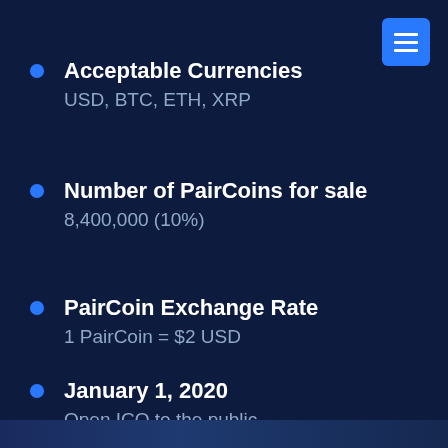Acceptable Currencies
USD, BTC, ETH, XRP
Number of PairCoins for sale
8,400,000 (10%)
PairCoin Exchange Rate
1 PairCoin = $2 USD
January 1, 2020
Open ICO to the public